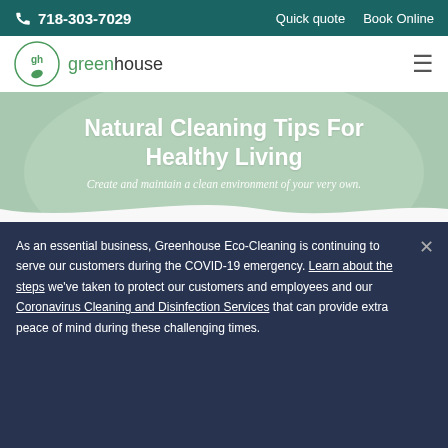718-303-7029  Quick quote  Book Online
[Figure (logo): Greenhouse Eco-Cleaning logo with 'gh' circle icon and leaf element]
Natural Cleaning Tips For Healthy Living
Create and maintain a clean environment of your very own.
As an essential business, Greenhouse Eco-Cleaning is continuing to serve our customers during the COVID-19 emergency. Learn about the steps we've taken to protect our customers and employees and our Coronavirus Cleaning and Disinfection Services that can provide extra peace of mind during these challenging times.